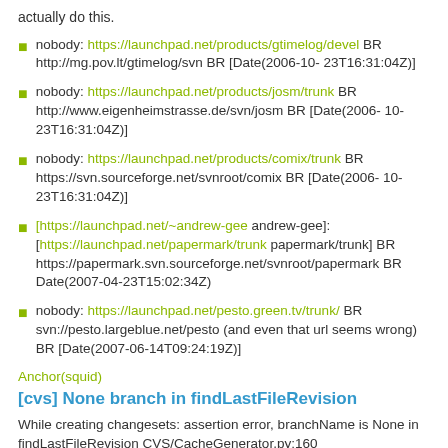actually do this.
nobody: https://launchpad.net/products/gtimelog/devel BR http://mg.pov.lt/gtimelog/svn BR [Date(2006-10-23T16:31:04Z)]
nobody: https://launchpad.net/products/josm/trunk BR http://www.eigenheimstrasse.de/svn/josm BR [Date(2006-10-23T16:31:04Z)]
nobody: https://launchpad.net/products/comix/trunk BR https://svn.sourceforge.net/svnroot/comix BR [Date(2006-10-23T16:31:04Z)]
[https://launchpad.net/~andrew-gee andrew-gee]: [https://launchpad.net/papermark/trunk papermark/trunk] BR https://papermark.svn.sourceforge.net/svnroot/papermark BR Date(2007-04-23T15:02:34Z)
nobody: https://launchpad.net/pesto.green.tv/trunk/ BR svn://pesto.largeblue.net/pesto (and even that url seems wrong) BR [Date(2007-06-14T09:24:19Z)]
Anchor(squid)
[cvs] None branch in findLastFileRevision
While creating changesets: assertion error, branchName is None in findLastFileRevision CVS/CacheGenerator.py:160
It looks like it means something is really busted with filler